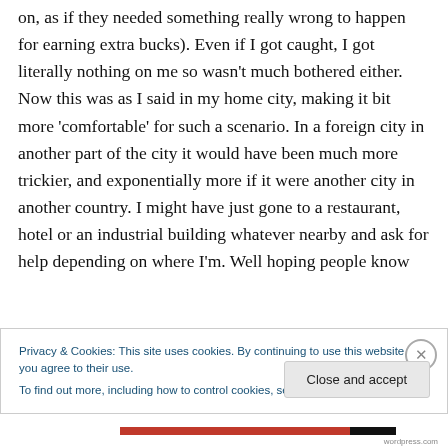on, as if they needed something really wrong to happen for earning extra bucks). Even if I got caught, I got literally nothing on me so wasn't much bothered either. Now this was as I said in my home city, making it bit more 'comfortable' for such a scenario. In a foreign city in another part of the city it would have been much more trickier, and exponentially more if it were another city in another country. I might have just gone to a restaurant, hotel or an industrial building whatever nearby and ask for help depending on where I'm. Well hoping people know
Privacy & Cookies: This site uses cookies. By continuing to use this website, you agree to their use.
To find out more, including how to control cookies, see here: Cookie Policy
Close and accept